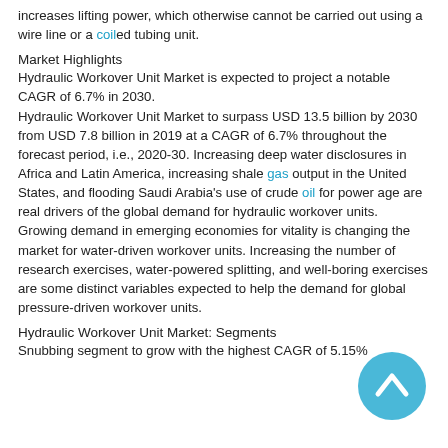increases lifting power, which otherwise cannot be carried out using a wire line or a coiled tubing unit.
Market Highlights
Hydraulic Workover Unit Market is expected to project a notable CAGR of 6.7% in 2030.
Hydraulic Workover Unit Market to surpass USD 13.5 billion by 2030 from USD 7.8 billion in 2019 at a CAGR of 6.7% throughout the forecast period, i.e., 2020-30. Increasing deep water disclosures in Africa and Latin America, increasing shale gas output in the United States, and flooding Saudi Arabia's use of crude oil for power age are real drivers of the global demand for hydraulic workover units. Growing demand in emerging economies for vitality is changing the market for water-driven workover units. Increasing the number of research exercises, water-powered splitting, and well-boring exercises are some distinct variables expected to help the demand for global pressure-driven workover units.
Hydraulic Workover Unit Market: Segments
Snubbing segment to grow with the highest CAGR of 5.15%